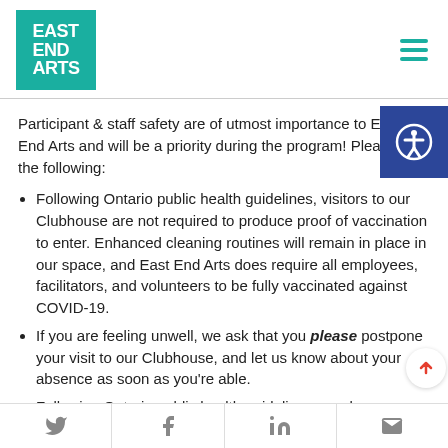East End Arts logo and navigation
Participant & staff safety are of utmost importance to East End Arts and will be a priority during the program! Please note the following:
Following Ontario public health guidelines, visitors to our Clubhouse are not required to produce proof of vaccination to enter. Enhanced cleaning routines will remain in place in our space, and East End Arts does require all employees, facilitators, and volunteers to be fully vaccinated against COVID-19.
If you are feeling unwell, we ask that you please postpone your visit to our Clubhouse, and let us know about your absence as soon as you're able.
Following Ontario public health guidelines, masks no longer mandatory inside our Clubhouse, however
Social share icons: Twitter, Facebook, LinkedIn, Email